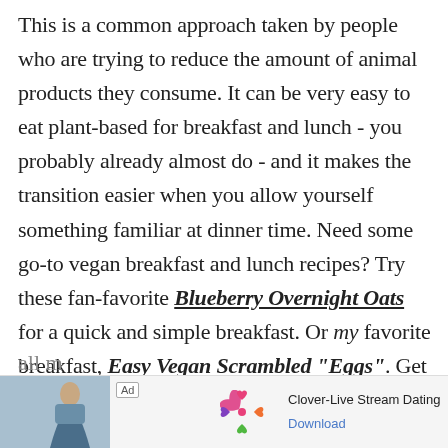This is a common approach taken by people who are trying to reduce the amount of animal products they consume. It can be very easy to eat plant-based for breakfast and lunch - you probably already almost do - and it makes the transition easier when you allow yourself something familiar at dinner time. Need some go-to vegan breakfast and lunch recipes? Try these fan-favorite Blueberry Overnight Oats for a quick and simple breakfast. Or my favorite breakfast, Easy Vegan Scrambled "Eggs". Get all m[cut off by ad]
[Figure (other): Advertisement banner at the bottom of the page. Shows 'Ad' badge, a photo of a woman, Clover app logo (four-leaf clover with colored hearts), text 'Clover-Live Stream Dating', and a 'Download' link.]